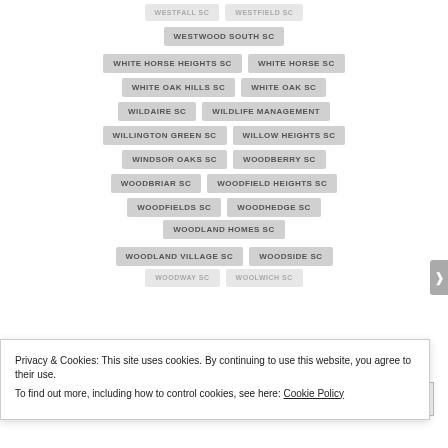WESTWOOD SOUTH SC
WHITE HORSE HEIGHTS SC
WHITE HORSE SC
WHITE OAK HILLS SC
WHITE OAK SC
WILDAIRE SC
WILDLIFE MANAGEMENT
WILLINGTON GREEN SC
WILLOW HEIGHTS SC
WINDSOR OAKS SC
WOODBERRY SC
WOODBRIAR SC
WOODFIELD HEIGHTS SC
WOODFIELDS SC
WOODHEDGE SC
WOODLAND HOMES SC
WOODLAND VILLAGE SC
WOODSIDE SC
Privacy & Cookies: This site uses cookies. By continuing to use this website, you agree to their use.
To find out more, including how to control cookies, see here: Cookie Policy
Close and accept